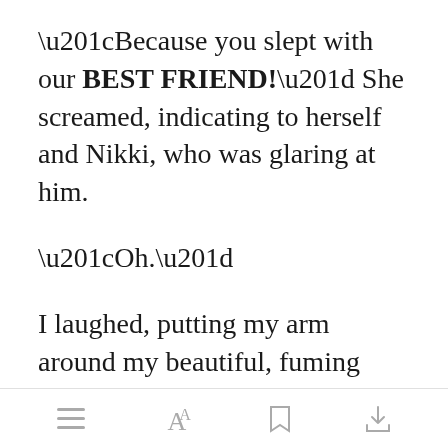“Because you slept with our BEST FRIEND!” She screamed, indicating to herself and Nikki, who was glaring at him.
“Oh.”
I laughed, putting my arm around my beautiful, fuming redhead, “calm down Lils. I want to see if Sirius can actually blame anyone.”
Open in app